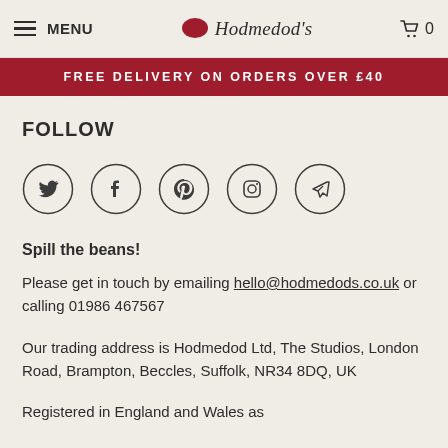MENU | Hodmedod's | 0
FREE DELIVERY ON ORDERS OVER £40
FOLLOW
[Figure (illustration): Five social media icons in circular outlines: Twitter bird, Facebook f, Pinterest p, Instagram camera, Telegram paper plane]
Spill the beans!
Please get in touch by emailing hello@hodmedods.co.uk or calling 01986 467567
Our trading address is Hodmedod Ltd, The Studios, London Road, Brampton, Beccles, Suffolk, NR34 8DQ, UK
Registered in England and Wales as